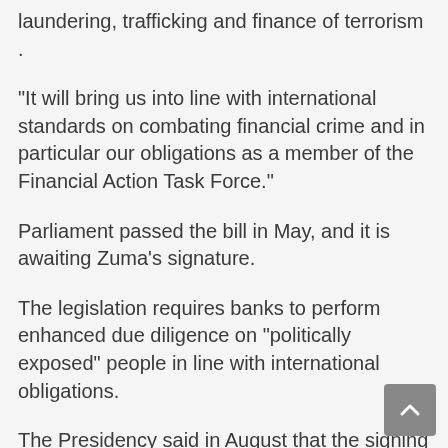laundering, trafficking and finance of terrorism .
“It will bring us into line with international standards on combating financial crime and in particular our obligations as a member of the Financial Action Task Force.”
Parliament passed the bill in May, and it is awaiting Zuma’s signature.
The legislation requires banks to perform enhanced due diligence on “politically exposed” people in line with international obligations.
The Presidency said in August that the signing of the bill was delayed by a constitutional objection lodged by the Progressive Professionals Forum (PPF), a lobby group established by former government spokesman Mzwanele (Jimmy) Manyi.
Former finance minister Trevor Manuel has said